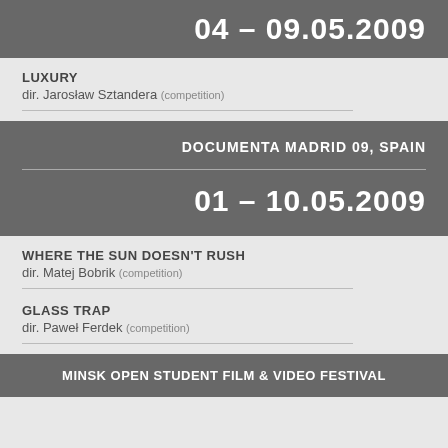04 – 09.05.2009
LUXURY
dir. Jarosław Sztandera (competition)
DOCUMENTA MADRID 09, SPAIN
01 – 10.05.2009
WHERE THE SUN DOESN'T RUSH
dir. Matej Bobrik (competition)
GLASS TRAP
dir. Paweł Ferdek (competition)
MINSK OPEN STUDENT FILM & VIDEO FESTIVAL